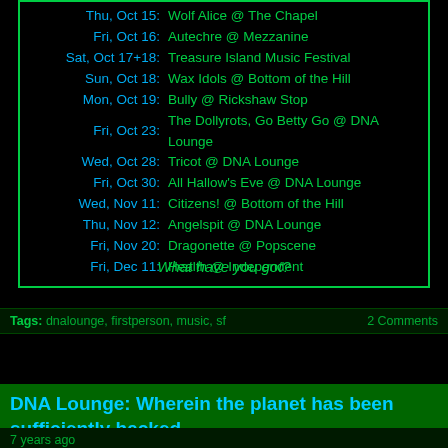| Date | Event |
| --- | --- |
| Thu, Oct 15: | Wolf Alice @ The Chapel |
| Fri, Oct 16: | Autechre @ Mezzanine |
| Sat, Oct 17+18: | Treasure Island Music Festival |
| Sun, Oct 18: | Wax Idols @ Bottom of the Hill |
| Mon, Oct 19: | Bully @ Rickshaw Stop |
| Fri, Oct 23: | The Dollyrots, Go Betty Go @ DNA Lounge |
| Wed, Oct 28: | Tricot @ DNA Lounge |
| Fri, Oct 30: | All Hallow's Eve @ DNA Lounge |
| Wed, Nov 11: | Citizens! @ Bottom of the Hill |
| Thu, Nov 12: | Angelspit @ DNA Lounge |
| Fri, Nov 20: | Dragonette @ Popscene |
| Fri, Dec 11: | Health @ Independent |
What have you got?
Tags: dnalounge, firstperson, music, sf    2 Comments
DNA Lounge: Wherein the planet has been sufficiently hacked.
7 years ago